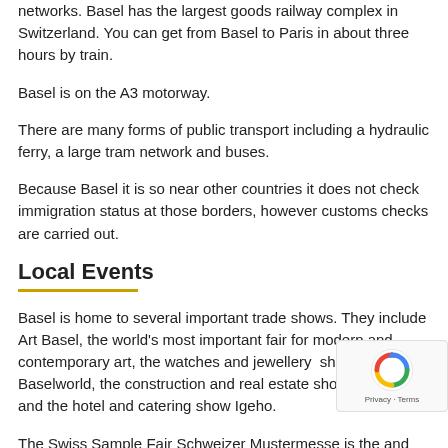networks. Basel has the largest goods railway complex in Switzerland. You can get from Basel to Paris in about three hours by train.
Basel is on the A3 motorway.
There are many forms of public transport including a hydraulic ferry, a large tram network and buses.
Because Basel it is so near other countries it does not check immigration status at those borders, however customs checks are carried out.
Local Events
Basel is home to several important trade shows. They include Art Basel, the world's most important fair for modern and contemporary art, the watches and jewellery show Baselworld, the construction and real estate show Swissbau and the hotel and catering show Igeho.
The Swiss Sample Fair Schweizer Mustermesse is the and oldest fair in Switzerland.